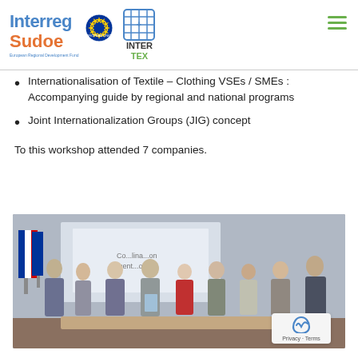[Figure (logo): Interreg Sudoe logo with European Union flag, INTER TEX logo, and hamburger menu icon]
Internationalisation of Textile – Clothing VSEs / SMEs : Accompanying guide by regional and national programs
Joint Internationalization Groups (JIG) concept
To this workshop attended 7 companies.
[Figure (photo): Group photo of approximately 10 people standing in a conference room with French and EU flags, a projector screen in the background showing a presentation, one person holding a booklet.]